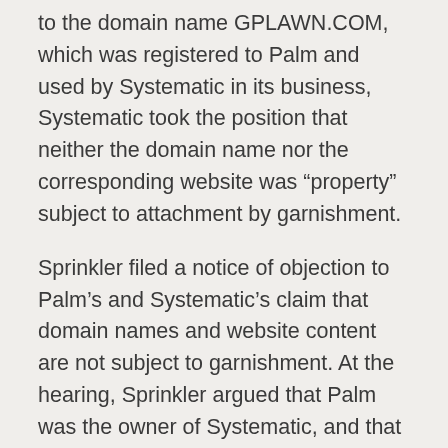to the domain name GPLAWN.COM, which was registered to Palm and used by Systematic in its business, Systematic took the position that neither the domain name nor the corresponding website was “property” subject to attachment by garnishment.
Sprinkler filed a notice of objection to Palm’s and Systematic’s claim that domain names and website content are not subject to garnishment. At the hearing, Sprinkler argued that Palm was the owner of Systematic, and that Systematic was the owner of the website entitled “GPLAWN.COM.” According to Sprinkler, Palm should have disclosed the existence of GPLAWN.COM because the domain name and its corresponding website constitute property of Systematic that are subject to garnishment under Minn. Stat. § 571.73 (2014). After the hearing, the